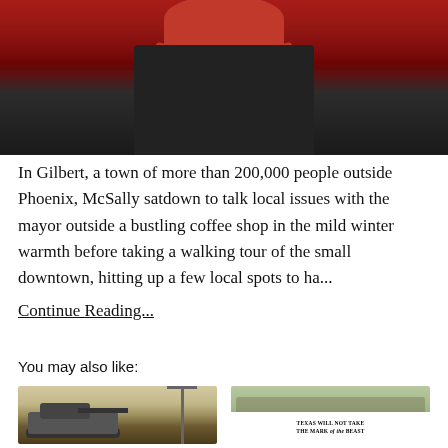[Figure (photo): Person in red shirt speaking at a dark podium, with a crowd behind them in a red-themed venue]
In Gilbert, a town of more than 200,000 people outside Phoenix, McSally satdown to talk local issues with the mayor outside a bustling coffee shop in the mild winter warmth before taking a walking tour of the small downtown, hitting up a few local spots to ha...
Continue Reading...
You may also like:
[Figure (photo): A military tank in a desert landscape with a tall transmission tower in the background]
[Figure (photo): People holding a banner reading 'TEXAS WILL NOT TAKE THE MARK of the BEAST' in front of a capitol building]